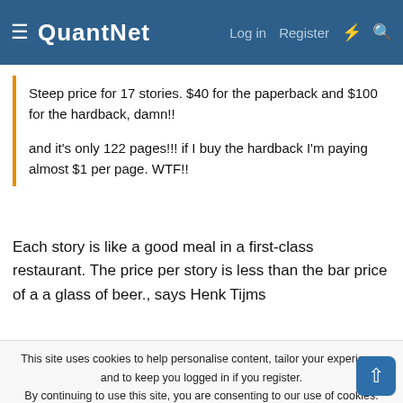QuantNet — Log in | Register
Steep price for 17 stories. $40 for the paperback and $100 for the hardback, damn!!

and it's only 122 pages!!! if I buy the hardback I'm paying almost $1 per page. WTF!!
Each story is like a good meal in a first-class restaurant. The price per story is less than the bar price of a a glass of beer., says Henk Tijms
↩ Reply
Archidamus
This site uses cookies to help personalise content, tailor your experience and to keep you logged in if you register.
By continuing to use this site, you are consenting to our use of cookies.